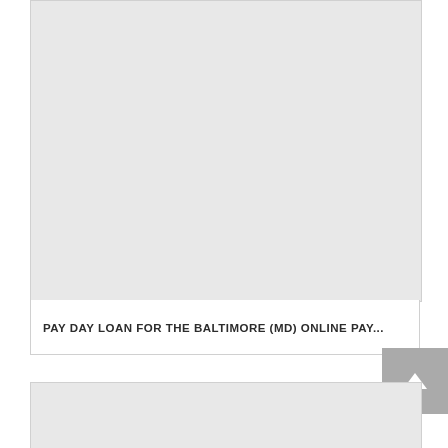[Figure (other): Gray placeholder image block at the top of a card]
PAY DAY LOAN FOR THE BALTIMORE (MD) ONLINE PAY...
[Figure (other): Gray placeholder image block at the bottom of a card]